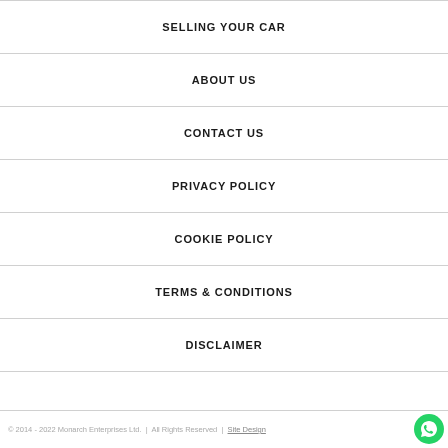SELLING YOUR CAR
ABOUT US
CONTACT US
PRIVACY POLICY
COOKIE POLICY
TERMS & CONDITIONS
DISCLAIMER
© 2014 - 2022 Monarch Enterprises Ltd.  |  All Rights Reserved  |  Site Design